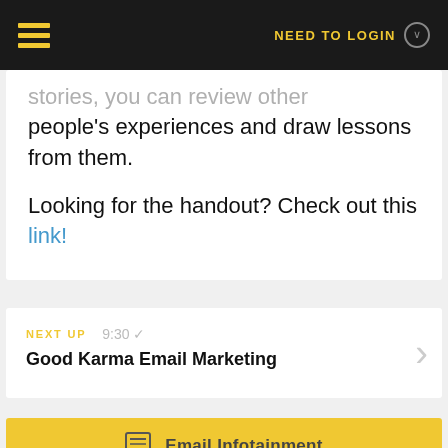NEED TO LOGIN
...stories, you can review other people's experiences and draw lessons from them.

Looking for the handout? Check out this link!
NEXT UP  9:30
Good Karma Email Marketing
Email Infotainment